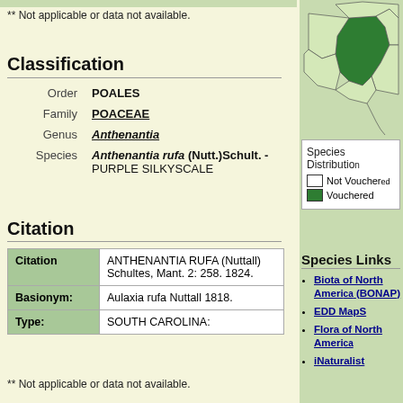** Not applicable or data not available.
Classification
| Field | Value |
| --- | --- |
| Order | POALES |
| Family | POACEAE |
| Genus | Anthenantia |
| Species | Anthenantia rufa (Nutt.)Schult. - PURPLE SILKYSCALE |
Citation
| Citation | Value |
| --- | --- |
| Citation | ANTHENANTIA RUFA (Nuttall) Schultes, Mant. 2: 258. 1824. |
| Basionym: | Aulaxia rufa Nuttall 1818. |
| Type: | SOUTH CAROLINA: |
** Not applicable or data not available.
[Figure (map): Species distribution map showing states, with green shading for vouchered occurrences]
Species Distribution
Not Vouchered
Vouchered
Species Links
Biota of North America (BONAP)
EDD MapS
Flora of North America
iNaturalist